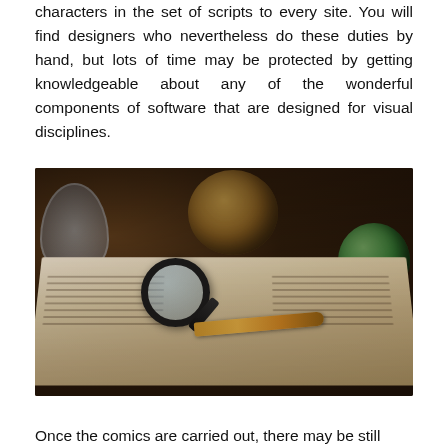characters in the set of scripts to every site. You will find designers who nevertheless do these duties by hand, but lots of time may be protected by getting knowledgeable about any of the wonderful components of software that are designed for visual disciplines.
[Figure (photo): A dark moody photo showing an open book with a magnifying glass and pen resting on it, with globe ornaments in the background]
Once the comics are carried out, there may be still